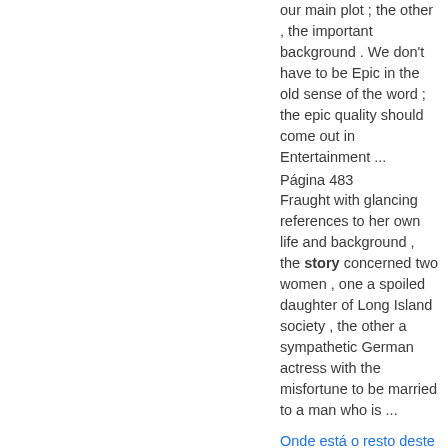our main plot ; the other , the important background . We don't have to be Epic in the old sense of the word ; the epic quality should come out in Entertainment ...
Página 483
Fraught with glancing references to her own life and background , the story concerned two women , one a spoiled daughter of Long Island society , the other a sympathetic German actress with the misfortune to be married to a man who is ...
Onde está o resto deste livro?